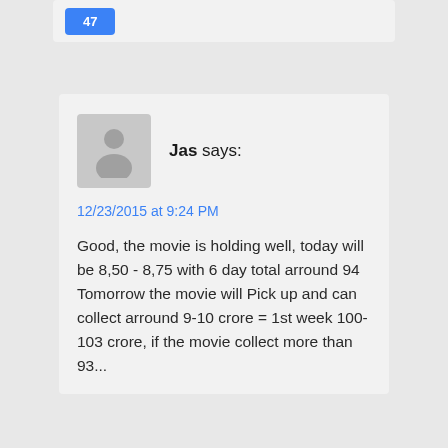[Figure (other): Blue button partially visible at top of card]
Jas says:
12/23/2015 at 9:24 PM
Good, the movie is holding well, today will be 8,50 - 8,75 with 6 day total arround 94 Tomorrow the movie will Pick up and can collect arround 9-10 crore = 1st week 100-103 crore, if the movie collect more than 93...